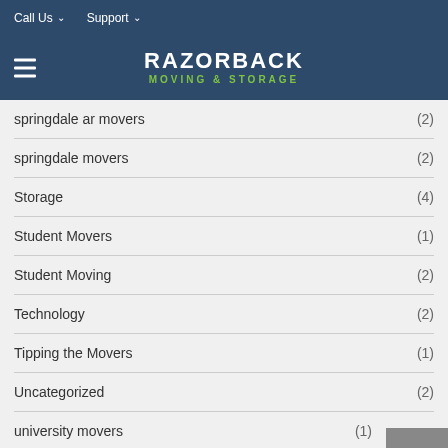Call Us  Support
[Figure (logo): Razorback Moving & Storage logo with hamburger menu icon on blue background]
springdale ar movers (2)
springdale movers (2)
Storage (4)
Student Movers (1)
Student Moving (2)
Technology (2)
Tipping the Movers (1)
Uncategorized (2)
university movers (1)
Unpacking Service (1)